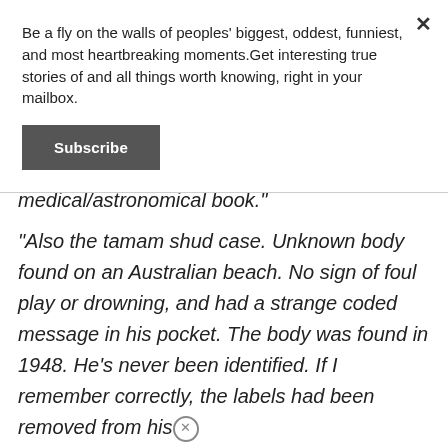Be a fly on the walls of peoples' biggest, oddest, funniest, and most heartbreaking moments.Get interesting true stories of and all things worth knowing, right in your mailbox.
Subscribe
medical/astronomical book."
"Also the tamam shud case. Unknown body found on an Australian beach. No sign of foul play or drowning, and had a strange coded message in his pocket. The body was found in 1948. He's never been identified. If I remember correctly, the labels had been removed from his clothes, and he didn't seem to be from the area."